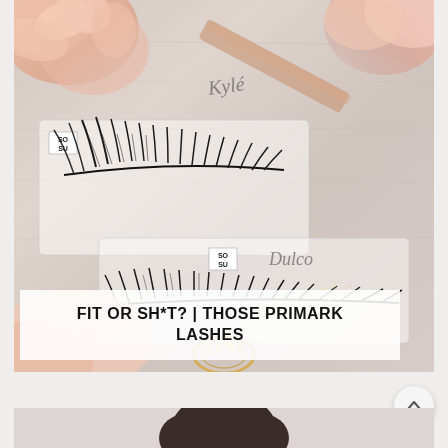[Figure (photo): Flat lay photo of SOSU false eyelash products (Kylie and Dulce styles) on a marble/wood surface, surrounded by pink/peach flowers, dried baby's breath, and a rose-gold ribbon. Two sets of dramatic false lashes are visible in clear packaging with SOSU branding.]
FIT OR SH*T? | THOSE PRIMARK LASHES
[Figure (photo): Bottom portion of a portrait photo showing the top of a person's head with dark hair, against a light grey background.]